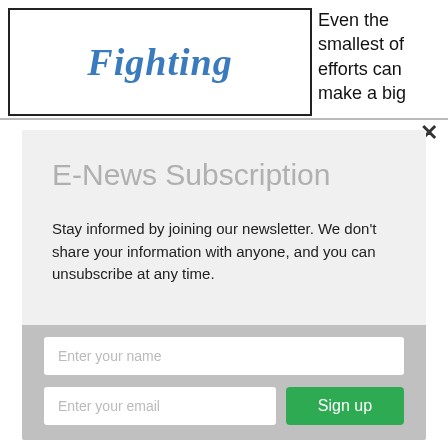[Figure (illustration): Book cover with bold blue italic text 'Fighting' inside a black border rectangle]
Even the smallest of efforts can make a big
×
E-News Subscription
Stay informed by joining our newsletter. We don't share your information with anyone, and you can unsubscribe at any time.
Enter your name
Enter your email
Sign up